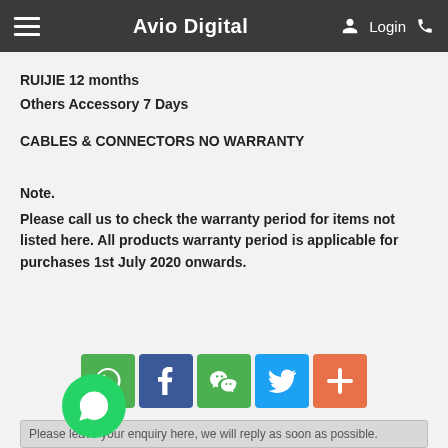Avio Digital  Login
RUIJIE 12 months
Others Accessory 7 Days
CABLES & CONNECTORS NO WARRANTY
Note.
Please call us to check the warranty period for items not listed here. All products warranty period is applicable for purchases 1st July 2020 onwards.
[Figure (infographic): Row of 5 social media share icons: WhatsApp (green), Facebook (dark blue), WeChat (green), Twitter (light blue), Add/More (orange-red)]
Please leave your enquiry here, we will reply as soon as possible.
Name (required) *
Please enter your name